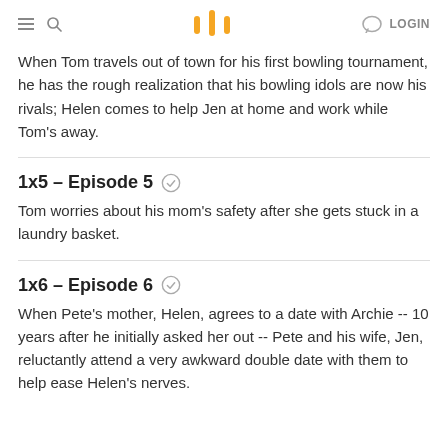≡ 🔍  |||  LOGIN
When Tom travels out of town for his first bowling tournament, he has the rough realization that his bowling idols are now his rivals; Helen comes to help Jen at home and work while Tom's away.
1x5 – Episode 5
Tom worries about his mom's safety after she gets stuck in a laundry basket.
1x6 – Episode 6
When Pete's mother, Helen, agrees to a date with Archie -- 10 years after he initially asked her out -- Pete and his wife, Jen, reluctantly attend a very awkward double date with them to help ease Helen's nerves.